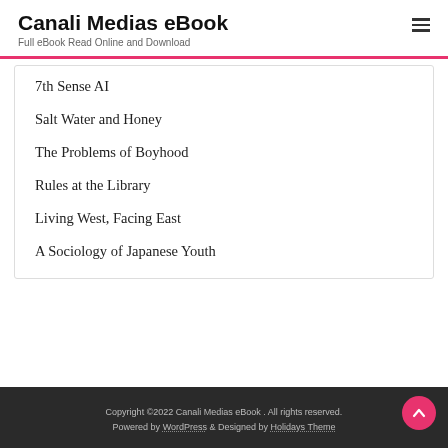Canali Medias eBook – Full eBook Read Online and Download
7th Sense AI
Salt Water and Honey
The Problems of Boyhood
Rules at the Library
Living West, Facing East
A Sociology of Japanese Youth
Copyright ©2022 Canali Medias eBook . All rights reserved. Powered by WordPress & Designed by Holidays Theme